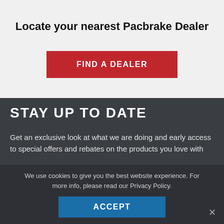Locate your nearest Pacbrake Dealer
FIND A DEALER
STAY UP TO DATE
Get an exclusive look at what we are doing and early access to special offers and rebates on the products you love with
We use cookies to give you the best website experience. For more info, please read our Privacy Policy.
ACCEPT